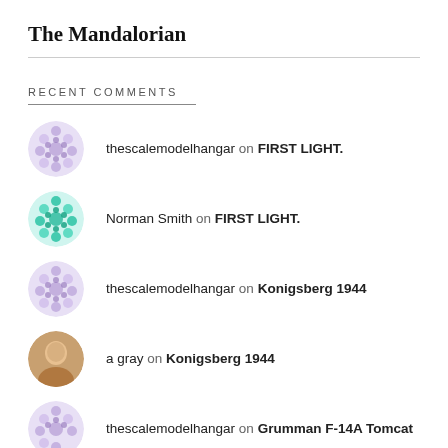The Mandalorian
RECENT COMMENTS
thescalemodelhangar on FIRST LIGHT.
Norman Smith on FIRST LIGHT.
thescalemodelhangar on Konigsberg 1944
a gray on Konigsberg 1944
thescalemodelhangar on Grumman F-14A Tomcat